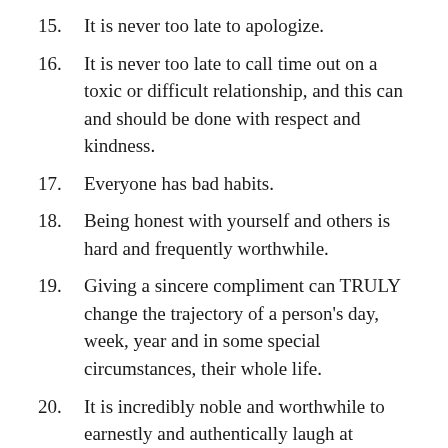15. It is never too late to apologize.
16. It is never too late to call time out on a toxic or difficult relationship, and this can and should be done with respect and kindness.
17. Everyone has bad habits.
18. Being honest with yourself and others is hard and frequently worthwhile.
19. Giving a sincere compliment can TRULY change the trajectory of a person's day, week, year and in some special circumstances, their whole life.
20. It is incredibly noble and worthwhile to earnestly and authentically laugh at yourself sometimes.
21. Cruelty is never funny.
22. Kindness is never truly wasted, despite it